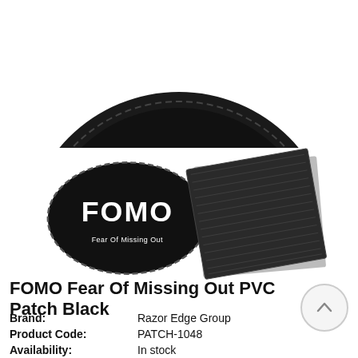[Figure (photo): Top portion of a circular black PVC patch with white text reading 'Fear Of Missing Out' along the top arc, with stitched edge detail visible]
[Figure (photo): Two product images side by side: left shows an oval black PVC patch with 'FOMO' in large white bold text and 'Fear Of Missing Out' in small white text below; right shows the back of the patch with black velcro hook material]
FOMO Fear Of Missing Out PVC Patch Black
| Label | Value |
| --- | --- |
| Brand: | Razor Edge Group |
| Product Code: | PATCH-1048 |
| Availability: | In stock |
| Product Type: | Patch |